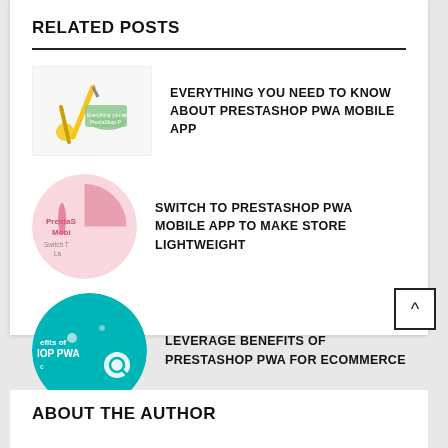RELATED POSTS
EVERYTHING YOU NEED TO KNOW ABOUT PRESTASHOP PWA MOBILE APP
SWITCH TO PRESTASHOP PWA MOBILE APP TO MAKE STORE LIGHTWEIGHT
LEVERAGE BENEFITS OF PRESTASHOP PWA FOR ECOMMERCE
ABOUT THE AUTHOR